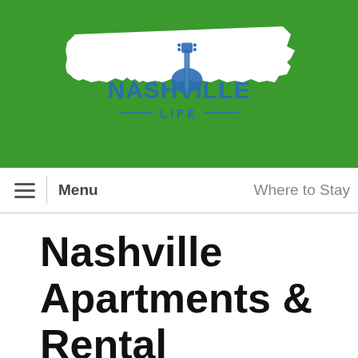[Figure (logo): Nashville Life logo — white Tennessee state silhouette with guitar motif and 'NASHVILLE LIFE' text in blue, on a green background]
≡  Menu    Where to Stay
Nashville Apartments & Rental Properties